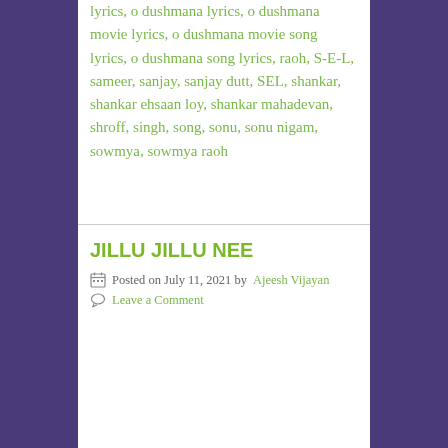lyrics, o dushmana lyrics, o dushmana movie lyrics, o dushmana movie song lyrics, o dushmana song lyrics, raoh, S-E-L, sameer, sanjay, sanjay dutt, SEL, shankar, shankar ehsaan loy, shankar mahadevan, shroff, singh, song, sonu, sonu nigam, sowmya, sowmya raoh
JILLU JILLU NEE
Posted on July 11, 2021 by Ajeesh Vijayan
Leave a Comment